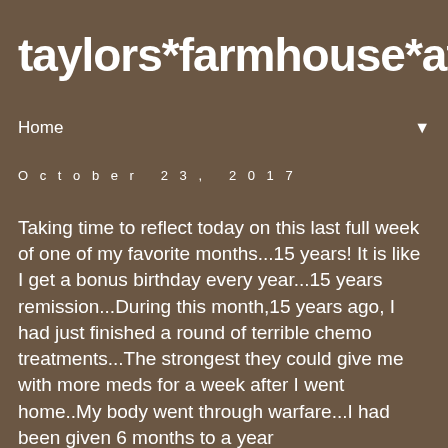taylors*farmhouse*attic
Home ▼
October 23, 2017
Taking time to reflect today on this last full week of one of my favorite months...15 years! It is like I get a bonus birthday every year...15 years remission...During this month,15 years ago, I had just finished a round of terrible chemo treatments...The strongest they could give me with more meds for a week after I went home..My body went through warfare...I had been given 6 months to a year survival...Radiation was going to begin...Much pain...It affected my eyesight... Cancer had left me with only one workable vocal cord....Radiation took away my voice.... They did not know if it would return...But GOD had other plans....Today I am here, 15 years later....My voice came back....On a good day I can hum and sometimes that 1 vocal